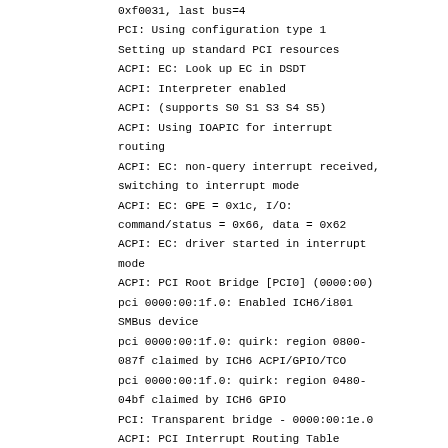0xf0031, last bus=4
PCI: Using configuration type 1
Setting up standard PCI resources
ACPI: EC: Look up EC in DSDT
ACPI: Interpreter enabled
ACPI: (supports S0 S1 S3 S4 S5)
ACPI: Using IOAPIC for interrupt routing
ACPI: EC: non-query interrupt received, switching to interrupt mode
ACPI: EC: GPE = 0x1c, I/O: command/status = 0x66, data = 0x62
ACPI: EC: driver started in interrupt mode
ACPI: PCI Root Bridge [PCI0] (0000:00)
pci 0000:00:1f.0: Enabled ICH6/i801 SMBus device
pci 0000:00:1f.0: quirk: region 0800-087f claimed by ICH6 ACPI/GPIO/TCO
pci 0000:00:1f.0: quirk: region 0480-04bf claimed by ICH6 GPIO
PCI: Transparent bridge - 0000:00:1e.0
ACPI: PCI Interrupt Routing Table [\_SB_.PCI0._PRT]
ACPI: PCI Interrupt Routing Table [\_SB_.PCI0.P0P1._PRT]
ACPI: PCI Interrupt Routing Table [\_SB_.PCI0.P0P3._PRT]
ACPI: PCI Interrupt Link [LNKA] (IRQs 3 4 5 6 7 *10 11 12 14 15)
ACPI: PCI Interrupt Link [LNKB] (IRQs 3